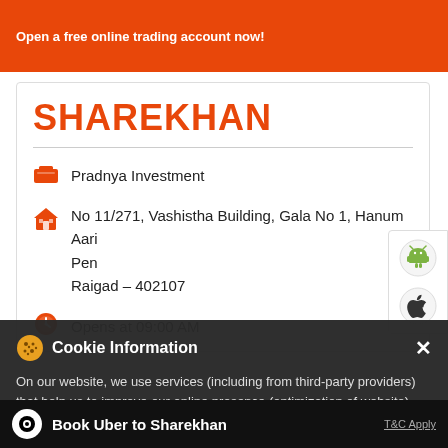Open a free online trading account now!
SHAREKHAN
Pradnya Investment
No 11/271, Vashistha Building, Gala No 1, Hanum
Aari
Pen
Raigad - 402107
Opens at 09:00 AM
Cookie Information
On our website, we use services (including from third-party providers) that help us to improve our online presence (optimization of website) and to display content that is geared to their interests. We need your consent before being able to use these services.
Book Uber to Sharekhan
T&C Apply